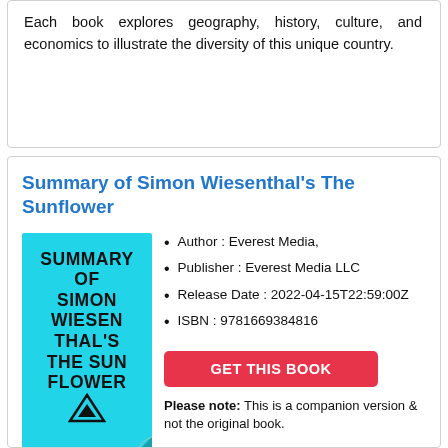Each book explores geography, history, culture, and economics to illustrate the diversity of this unique country.
Summary of Simon Wiesenthal's The Sunflower
[Figure (illustration): Book cover of 'Summary of Simon Wiesenthal's The Sunflower' with cyan/turquoise background, bold black text, and a small mountain logo at the bottom with a page curl effect.]
Author : Everest Media,
Publisher : Everest Media LLC
Release Date : 2022-04-15T22:59:00Z
ISBN : 9781669384816
GET THIS BOOK
Please note: This is a companion version & not the original book.